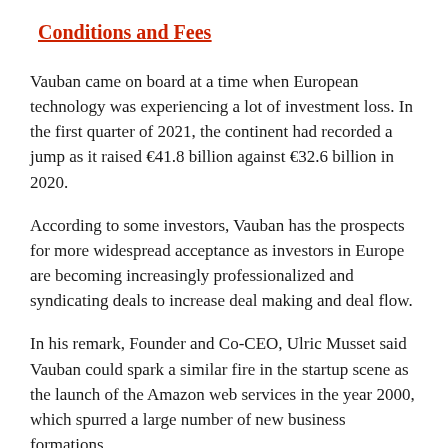Conditions and Fees
Vauban came on board at a time when European technology was experiencing a lot of investment loss. In the first quarter of 2021, the continent had recorded a jump as it raised €41.8 billion against €32.6 billion in 2020.
According to some investors, Vauban has the prospects for more widespread acceptance as investors in Europe are becoming increasingly professionalized and syndicating deals to increase deal making and deal flow.
In his remark, Founder and Co-CEO, Ulric Musset said Vauban could spark a similar fire in the startup scene as the launch of the Amazon web services in the year 2000, which spurred a large number of new business formations.
An investor from Outward VC said with Vauban's focus on product and user experience, the integrated platform has received a facelift, defiling the static infrastructure with